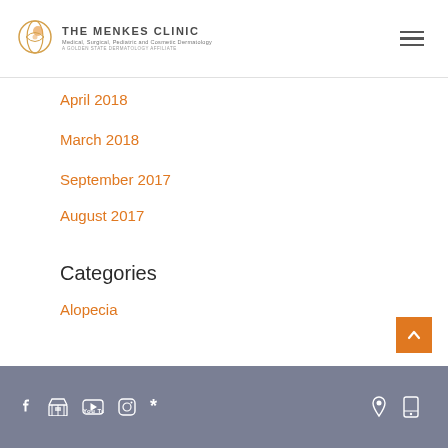The Menkes Clinic — Medical, Surgical, Pediatric and Cosmetic Dermatology — A Golden State Dermatology Affiliate
April 2018
March 2018
September 2017
August 2017
Categories
Alopecia
Social media icons: Facebook, Store, YouTube, Instagram, Yelp, Location, Mobile